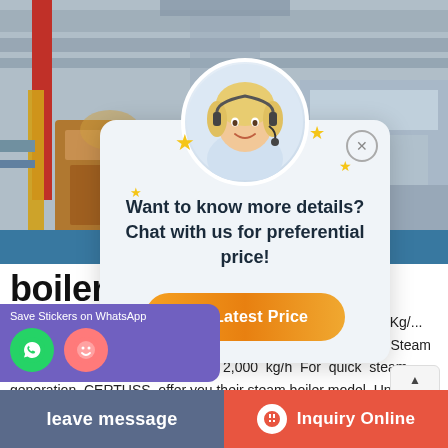[Figure (photo): Industrial boiler factory interior with red and yellow beams, large industrial machinery, blue floor]
[Figure (screenshot): Chat popup overlay with customer service agent avatar, stars, message 'Want to know more details? Chat with us for preferential price!' and orange 'Get Latest Price' button]
boiler  iiler
Jun 08, 2018 — Steam Boiler from Diesel, Gas, Dual Fuel 500 Kg/ ... CONVERSION OF BOILER IN KG/H AND KW ... Instant Steam Boiler | Capacities 500 kg/h to 2,000 kg/h For quick steam generation, CERTUSS offer you their steam boiler model, Univers...
Save Stickers on WhatsApp
leave message
Inquiry Online